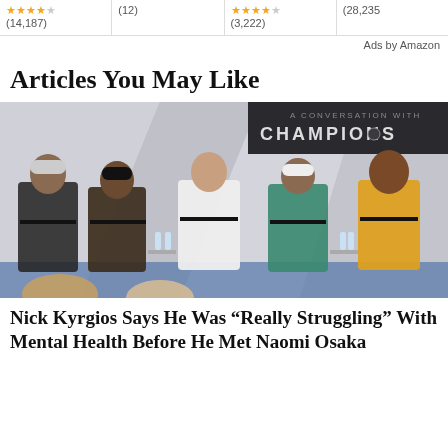[Figure (other): Product review star ratings row showing (14,187), (12), (3,222), (28,235) review counts with star icons]
Ads by Amazon
Articles You May Like
[Figure (photo): Photo of five tennis players seated on stage at 'A Conversation With Champions' event. Nick Kyrgios and others including Naomi Osaka, Rafael Nadal, Venus Williams, and Serena Williams seated in director chairs.]
Nick Kyrgios Says He Was “Really Struggling” With Mental Health Before He Met Naomi Osaka